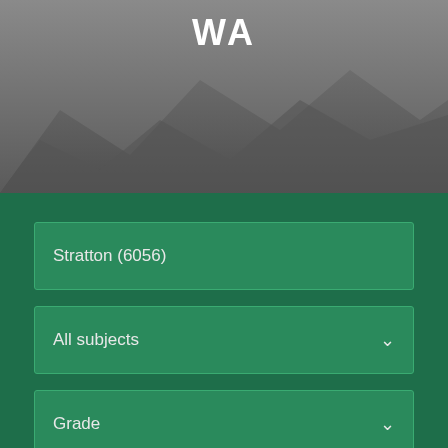WA
[Figure (photo): Gray mountainous landscape background photo with WA text overlay]
Stratton (6056)
All subjects
Grade
Gender